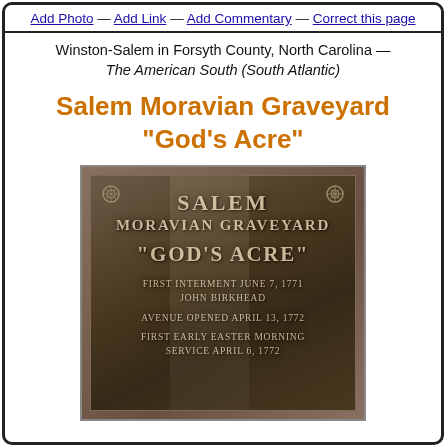Add Photo — Add Link — Add Commentary — Correct this page
Winston-Salem in Forsyth County, North Carolina — The American South (South Atlantic)
Salem Moravian Graveyard "God's Acre"
[Figure (photo): A bronze plaque on a stone wall reading: SALEM MORAVIAN GRAVEYARD "GOD'S ACRE" FIRST INTERMENT JUNE 7, 1771 JOHN BIRKHEAD AVENUE OPENED APRIL 13, 1772 FIRST EARLY EASTER MORNING SERVICE APRIL 6, 1772]